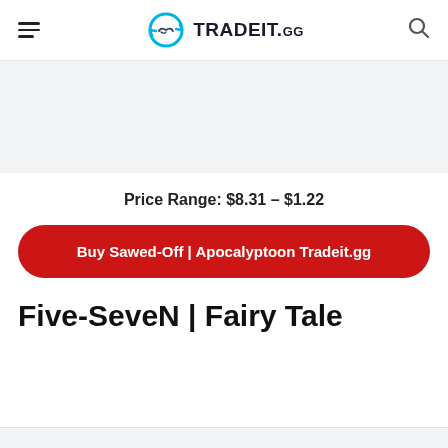TRADEIT.GG
[Figure (other): Gray placeholder image box]
Price Range: $8.31 – $1.22
Buy Sawed-Off | Apocalyptoon Tradeit.gg
Five-SeveN | Fairy Tale